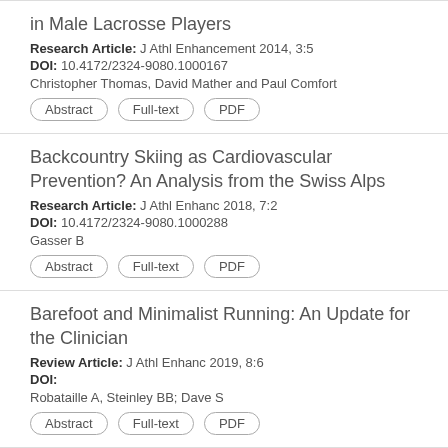in Male Lacrosse Players
Research Article: J Athl Enhancement 2014, 3:5
DOI: 10.4172/2324-9080.1000167
Christopher Thomas, David Mather and Paul Comfort
Backcountry Skiing as Cardiovascular Prevention? An Analysis from the Swiss Alps
Research Article: J Athl Enhanc 2018, 7:2
DOI: 10.4172/2324-9080.1000288
Gasser B
Barefoot and Minimalist Running: An Update for the Clinician
Review Article: J Athl Enhanc 2019, 8:6
DOI:
Robataille A, Steinley BB; Dave S